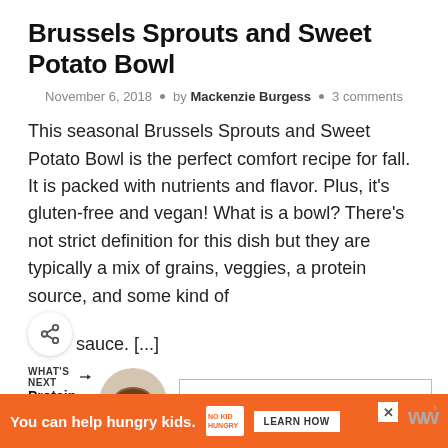Brussels Sprouts and Sweet Potato Bowl
November 6, 2018 • by Mackenzie Burgess • 3 comments
This seasonal Brussels Sprouts and Sweet Potato Bowl is the perfect comfort recipe for fall. It is packed with nutrients and flavor. Plus, it's gluten-free and vegan! What is a bowl? There's not strict definition for this dish but they are typically a mix of grains, veggies, a protein source, and some kind of sauce. [...]
WHAT'S NEXT → Protein Mug Cake
READ MORE
You can help hungry kids. NO KID HUNGRY LEARN HOW